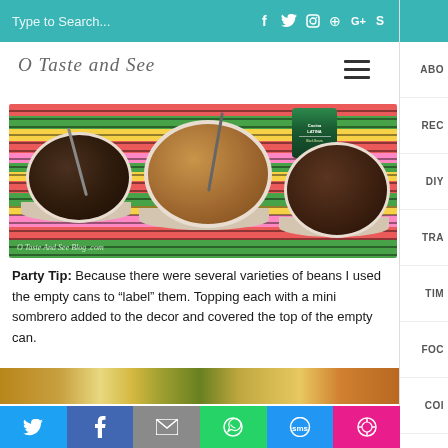Type to Search...
O Taste and See
[Figure (photo): Three white bowls of beans on a colorful striped cloth: left bowl contains whole black beans with spoon, center bowl has tan/refried beans with spoon, right bowl has dark refried beans. A can of Cocina Latina black beans is visible in the background. Watermark reads: O Taste And See Blog .com]
Party Tip:  Because there were several varieties of beans I used the empty cans to “label” them.  Topping each with a mini sombrero added to the decor and covered the top of the empty can.